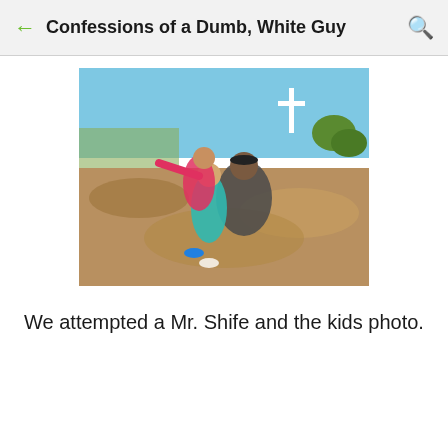Confessions of a Dumb, White Guy
[Figure (photo): A man crouching outdoors on rocky terrain on a hilltop with two children. One child in a pink shirt is standing behind with arm outstretched pointing, the other child in a teal top is in front. A large white cross is visible in the background against a blue sky. City and trees visible in the distance.]
We attempted a Mr. Shife and the kids photo.